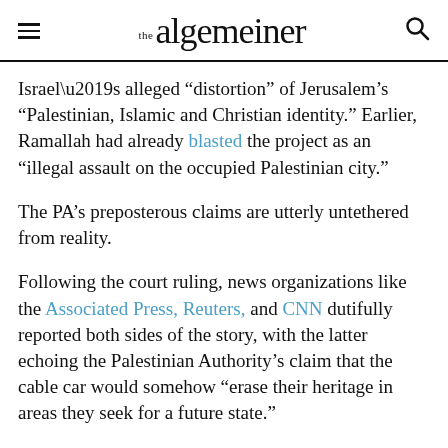the algemeiner
Israel’s alleged “distortion” of Jerusalem’s “Palestinian, Islamic and Christian identity.” Earlier, Ramallah had already blasted the project as an “illegal assault on the occupied Palestinian city.”
The PA’s preposterous claims are utterly untethered from reality.
Following the court ruling, news organizations like the Associated Press, Reuters, and CNN dutifully reported both sides of the story, with the latter echoing the Palestinian Authority’s claim that the cable car would somehow “erase their heritage in areas they seek for a future state.”